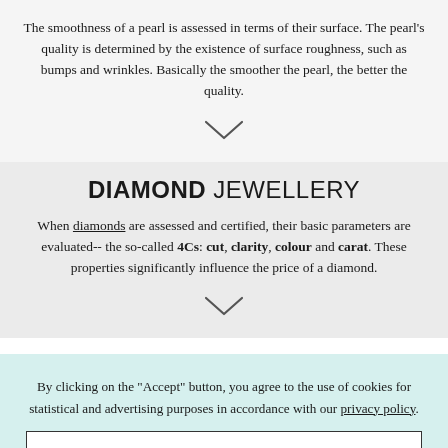The smoothness of a pearl is assessed in terms of their surface. The pearl's quality is determined by the existence of surface roughness, such as bumps and wrinkles. Basically the smoother the pearl, the better the quality.
[Figure (illustration): Downward chevron/arrow icon]
DIAMOND JEWELLERY
When diamonds are assessed and certified, their basic parameters are evaluated-- the so-called 4Cs: cut, clarity, colour and carat. These properties significantly influence the price of a diamond.
[Figure (illustration): Downward chevron/arrow icon]
By clicking on the "Accept" button, you agree to the use of cookies for statistical and advertising purposes in accordance with our privacy policy.
ACCEPT